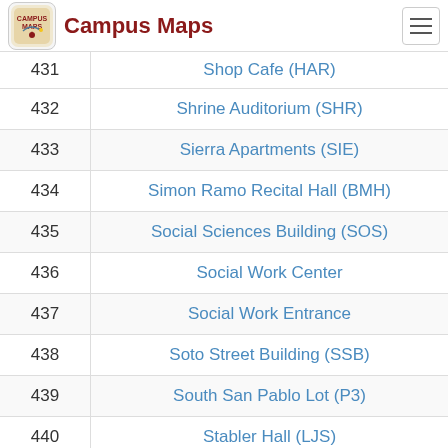Campus Maps
| # | Location |
| --- | --- |
| 431 | Shop Cafe (HAR) |
| 432 | Shrine Auditorium (SHR) |
| 433 | Sierra Apartments (SIE) |
| 434 | Simon Ramo Recital Hall (BMH) |
| 435 | Social Sciences Building (SOS) |
| 436 | Social Work Center |
| 437 | Social Work Entrance |
| 438 | Soto Street Building (SSB) |
| 439 | South San Pablo Lot (P3) |
| 440 | Stabler Hall (LJS) |
| 441 | Starbucks at Trojan Grounds (BSR) |